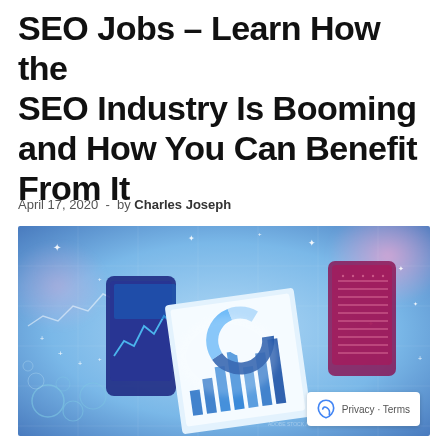SEO Jobs – Learn How the SEO Industry Is Booming and How You Can Benefit From It
April 17, 2020  -  by Charles Joseph
[Figure (illustration): Digital technology themed image showing hands holding smartphones and papers with charts and graphs, overlaid with glowing data visualizations, blue and pink color scheme suggesting digital analytics and SEO.]